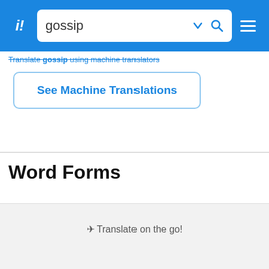i! gossip [search bar]
Translate gossip using machine translators
See Machine Translations
Word Forms
✈ Translate on the go!